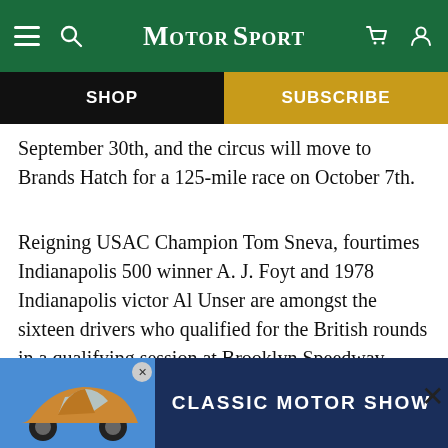Motor Sport
SHOP
SUBSCRIBE
September 30th, and the circus will move to Brands Hatch for a 125-mile race on October 7th.
Reigning USAC Champion Tom Sneva, fourtimes Indianapolis 500 winner A. J. Foyt and 1978 Indianapolis victor Al Unser are amongst the sixteen drivers who qualified for the British rounds in a qualifying session at Brooklyn Speedway, Michigan, in July. 1978 Indianapolis pole position man Sneva topped the qualifying times with a 209.059 m.p.h. lap round the z-mile banked oval, followed by team-mate Rick Mear...
[Figure (screenshot): Classic Motor Show advertisement banner with a Porsche car image on blue background and white text 'CLASSIC MOTOR SHOW' on dark blue background]